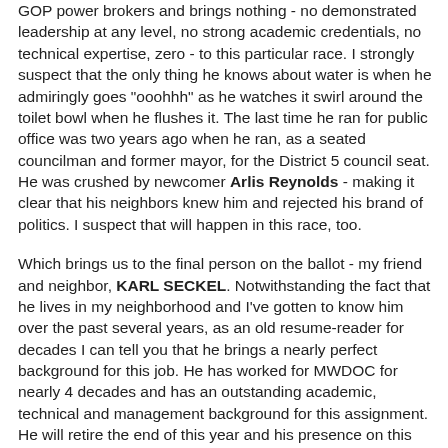GOP power brokers and brings nothing - no demonstrated leadership at any level, no strong academic credentials, no technical expertise, zero - to this particular race.  I strongly suspect that the only thing he knows about water is when he admiringly goes "ooohhh" as he watches it swirl around the toilet bowl when he flushes it.  The last time he ran for public office was two years ago when he ran, as a seated councilman and former mayor,  for the District 5 council seat.  He was crushed by newcomer Arlis Reynolds - making it clear that his neighbors knew him and rejected his brand of politics.  I suspect that will happen in this race, too.
Which brings us to the final person on the ballot - my friend and neighbor, KARL SECKEL.  Notwithstanding the fact that he lives in my neighborhood and I've gotten to know him over the past several years, as an old resume-reader for decades I can tell you that he brings a nearly perfect background for this job.  He has worked for MWDOC for nearly 4 decades and has an outstanding academic, technical and management background for this assignment.  He will retire the end of this year and his presence on this board will provide an extraordinary level of continuity of